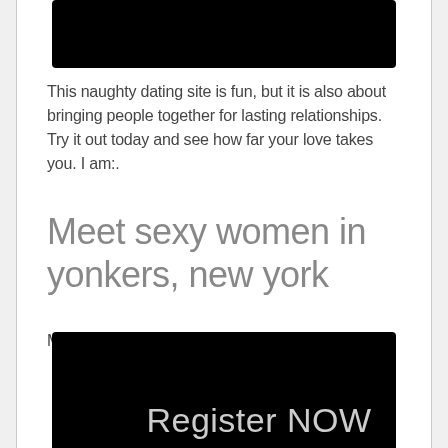[Figure (photo): Black rectangle at top of page]
This naughty dating site is fun, but it is also about bringing people together for lasting relationships. Try it out today and see how far your love takes you. I am:.
Meet sexy women in yonkers, new york
My age is. My age:.
[Figure (photo): Black rectangle at bottom with 'Register NOW' text]